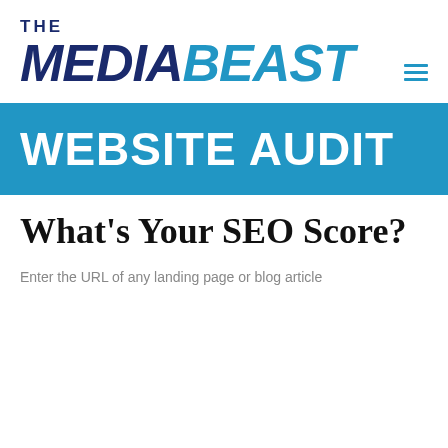[Figure (logo): The MediaBeast logo with 'THE' in dark navy bold text above 'MEDIA' in dark navy italic bold and 'BEAST' in blue italic bold, with a hamburger menu icon to the right]
WEBSITE AUDIT
What's Your SEO Score?
Enter the URL of any landing page or blog article